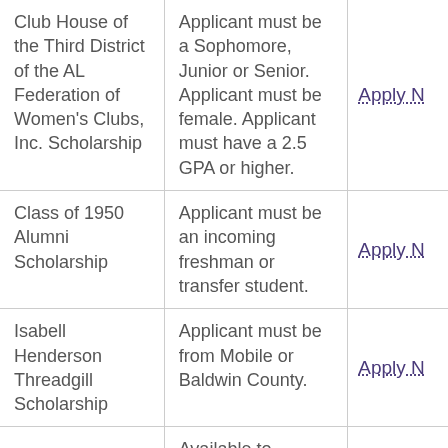| Scholarship Name | Requirements | Action |
| --- | --- | --- |
| Club House of the Third District of the AL Federation of Women's Clubs, Inc. Scholarship | Applicant must be a Sophomore, Junior or Senior. Applicant must be female. Applicant must have a 2.5 GPA or higher. | Apply N… |
| Class of 1950 Alumni Scholarship | Applicant must be an incoming freshman or transfer student. | Apply N… |
| Isabell Henderson Threadgill Scholarship | Applicant must be from Mobile or Baldwin County. | Apply N… |
|  | Available to minority junior and senior… |  |